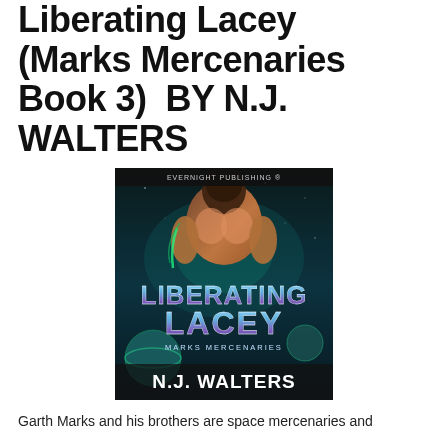Liberating Lacey (Marks Mercenaries Book 3) BY N.J. WALTERS
[Figure (illustration): Book cover for 'Liberating Lacey' by N.J. Walters, Marks Mercenaries series, published by Evernight Publishing. Shows a muscular shirtless man against a space/sci-fi background with planets, with stylized title text in metallic font.]
Garth Marks and his brothers are space mercenaries and